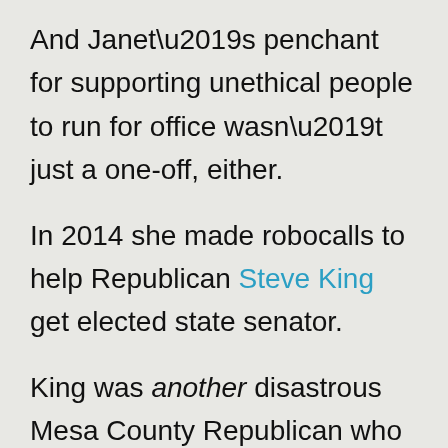And Janet’s penchant for supporting unethical people to run for office wasn’t just a one-off, either.
In 2014 she made robocalls to help Republican Steve King get elected state senator.
King was another disastrous Mesa County Republican who went down in flames and caused the area grievous embarrassment.